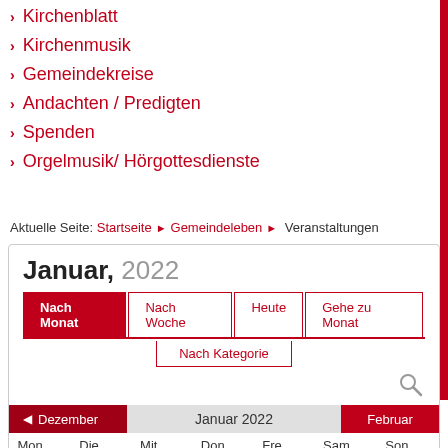› Kirchenblatt
› Kirchenmusik
› Gemeindekreise
› Andachten / Predigten
› Spenden
› Orgelmusik/ Hörgottesdienste
Aktuelle Seite: Startseite › Gemeindeleben › Veranstaltungen
Januar, 2022
Nach Monat | Nach Woche | Heute | Gehe zu Monat | Nach Kategorie
| Mon | Die | Mit | Don | Fre | Sam | Son |
| --- | --- | --- | --- | --- | --- | --- |
| 27 | 28 | 29 | 30 | 31 | 1 | 2 |